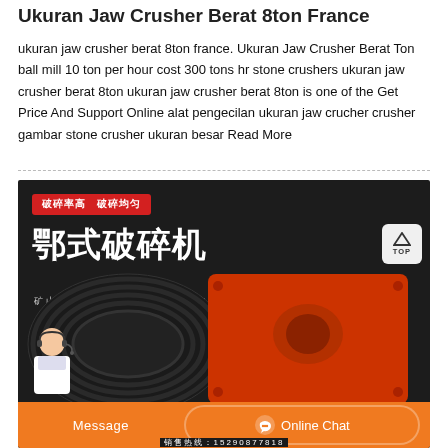Ukuran Jaw Crusher Berat 8ton France
ukuran jaw crusher berat 8ton france. Ukuran Jaw Crusher Berat Ton ball mill 10 ton per hour cost 300 tons hr stone crushers ukuran jaw crusher berat 8ton ukuran jaw crusher berat 8ton is one of the Get Price And Support Online alat pengecilan ukuran jaw crucher crusher gambar stone crusher ukuran besar Read More
[Figure (photo): Chinese advertisement image for a jaw crusher (鄂式破碎机). Dark background with red banner reading '破碎率高 破碎均匀', large white Chinese text '鄂式破碎机', subtext '矿山冶炼 建材 公路 铁路 水利 化工等行业', orange bottom bar with 'Message' and 'Online Chat' buttons, sales hotline text '销售热线：15290877818', and a customer service representative in the lower left.]